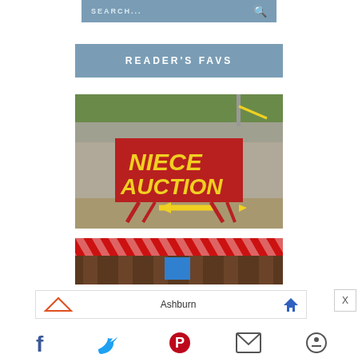SEARCH...
READER'S FAVS
[Figure (photo): A red A-frame sign reading 'NIECE AUCTION' with a yellow left-pointing arrow, set on a gravel roadside with dry grass in the background.]
[Figure (photo): Partial view of a storefront or booth with red and white diagonal striped banner at the top, brown wood panels, and a blue element visible.]
Ashburn
X